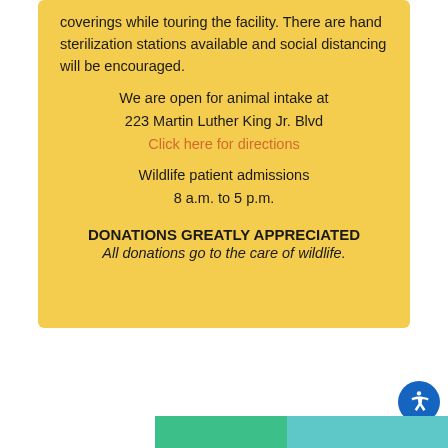coverings while touring the facility. There are hand sterilization stations available and social distancing will be encouraged.
We are open for animal intake at 223 Martin Luther King Jr. Blvd
Click here for directions
Wildlife patient admissions 8 a.m. to 5 p.m.
DONATIONS GREATLY APPRECIATED
All donations go to the care of wildlife.